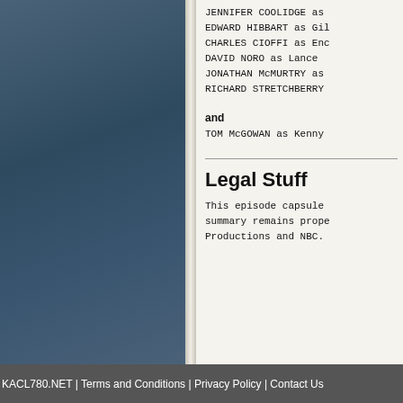JENNIFER COOLIDGE as
EDWARD HIBBART as Gil
CHARLES CIOFFI as Enc
DAVID NORO as Lance
JONATHAN McMURTRY as
RICHARD STRETCHBERRY
and
TOM McGOWAN as Kenny
Legal Stuff
This episode capsule
summary remains prope
Productions and NBC.
KACL780.NET | Terms and Conditions | Privacy Policy | Contact Us